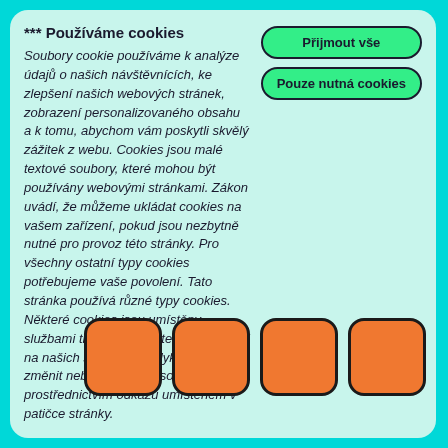*** Používáme cookies
Soubory cookie používáme k analýze údajů o našich návštěvnících, ke zlepšení našich webových stránek, zobrazení personalizovaného obsahu a k tomu, abychom vám poskytli skvělý zážitek z webu. Cookies jsou malé textové soubory, které mohou být používány webovými stránkami. Zákon uvádí, že můžeme ukládat cookies na vašem zařízení, pokud jsou nezbytně nutné pro provoz této stránky. Pro všechny ostatní typy cookies potřebujeme vaše povolení. Tato stránka používá různé typy cookies. Některé cookies jsou umístěny službami třetích stran, které se objevují na našich stránkách. Kdykoliv můžete změnit nebo zrušit svůj souhlas prostřednictvím odkazu umístěném v patičce stránky.
Přijmout vše
Pouze nutná cookies
[Figure (illustration): Four orange rounded rectangle boxes arranged in a horizontal row at the bottom right of the page on a cyan background.]